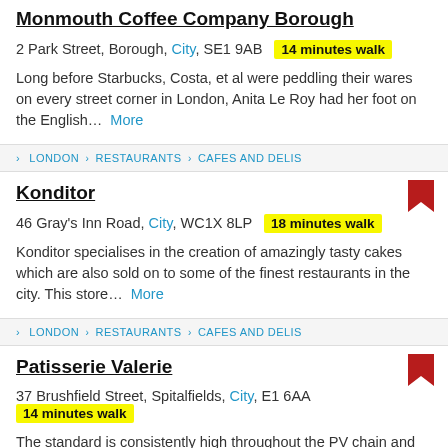Monmouth Coffee Company Borough
2 Park Street, Borough, City, SE1 9AB  14 minutes walk
Long before Starbucks, Costa, et al were peddling their wares on every street corner in London, Anita Le Roy had her foot on the English... More
LONDON › RESTAURANTS › CAFES AND DELIS
Konditor
46 Gray's Inn Road, City, WC1X 8LP  18 minutes walk
Konditor specialises in the creation of amazingly tasty cakes which are also sold on to some of the finest restaurants in the city. This store... More
LONDON › RESTAURANTS › CAFES AND DELIS
Patisserie Valerie
37 Brushfield Street, Spitalfields, City, E1 6AA  14 minutes walk
The standard is consistently high throughout the PV chain and this modern, light Spitalfields venue with gelataria, patisserie, ciabatta